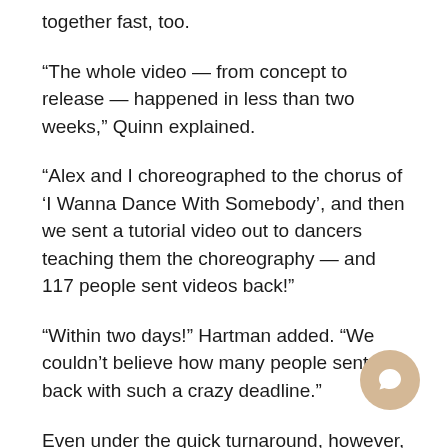together fast, too.
“The whole video — from concept to release — happened in less than two weeks,” Quinn explained.
“Alex and I choreographed to the chorus of ‘I Wanna Dance With Somebody’, and then we sent a tutorial video out to dancers teaching them the choreography — and 117 people sent videos back!”
“Within two days!” Hartman added. “We couldn’t believe how many people sent it back with such a crazy deadline.”
Even under the quick turnaround, however, the team was able to pull